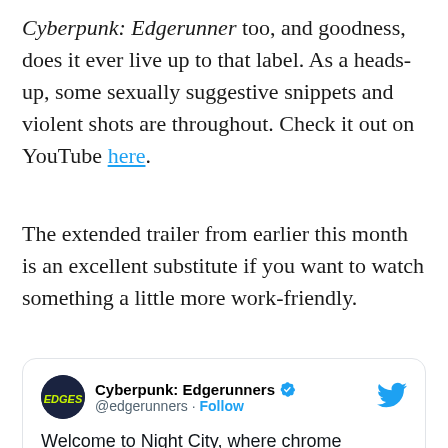Cyberpunk: Edgerunner too, and goodness, does it ever live up to that label. As a heads-up, some sexually suggestive snippets and violent shots are throughout. Check it out on YouTube here.
The extended trailer from earlier this month is an excellent substitute if you want to watch something a little more work-friendly.
[Figure (screenshot): Embedded tweet from @edgerunners (Cyberpunk: Edgerunners verified account) with Twitter bird logo. Tweet text: 'Welcome to Night City, where chrome exceeds the flesh 💪 Find out what it means to be an edgerunner from Cyberpunk:']